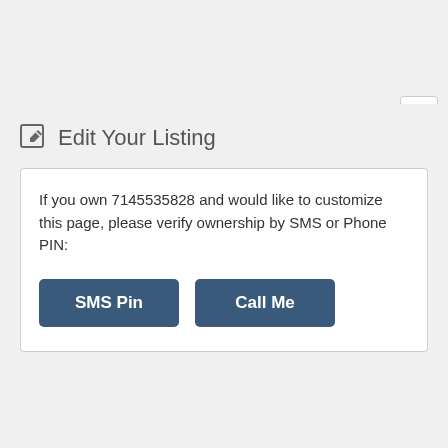[Figure (screenshot): Close button (X) in top right corner of dialog]
Edit Your Listing
If you own 7145535828 and would like to customize this page, please verify ownership by SMS or Phone PIN:
[Figure (screenshot): Two buttons: 'SMS Pin' and 'Call Me' with dark blue background]